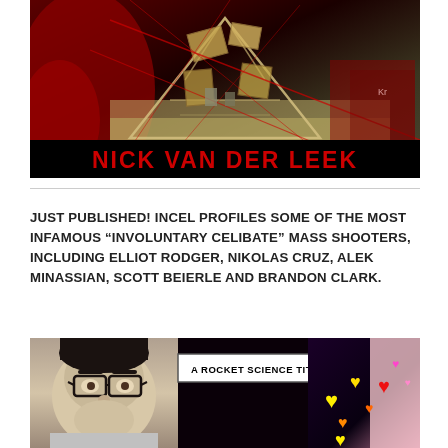[Figure (photo): Composite image with dark red background, pyramid structure made of wood/construction materials with red diagonal lines overlaid, and red shadow/silhouette on left]
NICK VAN DER LEEK
JUST PUBLISHED! INCEL PROFILES SOME OF THE MOST INFAMOUS “INVOLUNTARY CELIBATE” MASS SHOOTERS, INCLUDING ELLIOT RODGER, NIKOLAS CRUZ, ALEK MINASSIAN, SCOTT BEIERLE AND BRANDON CLARK.
[Figure (photo): Photo collage: person with glasses on left, white label box reading 'A ROCKET SCIENCE TITLE' in center, colorful heart emojis (yellow, orange, red, pink) on right side against dark background with pink/purple skin tone on far right]